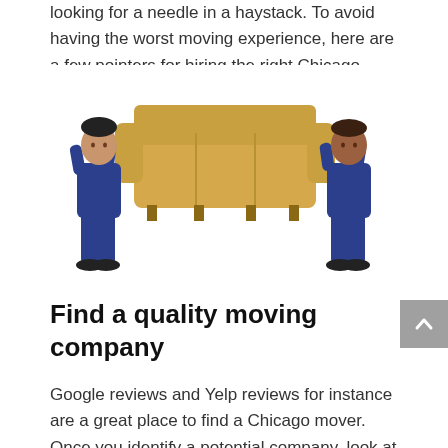looking for a needle in a haystack. To avoid having the worst moving experience, here are a few pointers for hiring the right Chicago moving company.
[Figure (photo): Two movers in blue uniforms carrying a tan/beige leather sofa, one on each end, facing each other against a white background.]
Find a quality moving company
Google reviews and Yelp reviews for instance are a great place to find a Chicago mover. Once you identify a potential company, look at their Google reviews and Yelp reviews and evaluate the company to choose t...